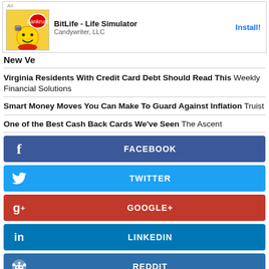[Figure (screenshot): Advertisement banner for BitLife - Life Simulator by Candywriter, LLC with Install button]
New Ve...
Virginia Residents With Credit Card Debt Should Read This  Weekly Financial Solutions
Smart Money Moves You Can Make To Guard Against Inflation  Truist
One of the Best Cash Back Cards We've Seen  The Ascent
FACEBOOK
TWITTER
GOOGLE+
LINKEDIN
REDDIT
PRINT